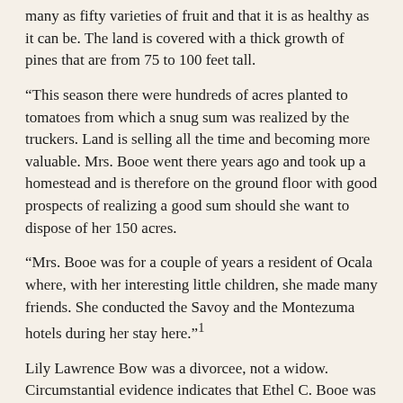many as fifty varieties of fruit and that it is as healthy as it can be. The land is covered with a thick growth of pines that are from 75 to 100 feet tall.
“This season there were hundreds of acres planted to tomatoes from which a snug sum was realized by the truckers. Land is selling all the time and becoming more valuable. Mrs. Booe went there years ago and took up a homestead and is therefore on the ground floor with good prospects of realizing a good sum should she want to dispose of her 150 acres.
“Mrs. Booe was for a couple of years a resident of Ocala where, with her interesting little children, she made many friends. She conducted the Savoy and the Montezuma hotels during her stay here.”¹
Lily Lawrence Bow was a divorcee, not a widow. Circumstantial evidence indicates that Ethel C. Booe was a divorcee, not a widow. Martha H. Finch was a widow and so was Mahala A. McRae, but